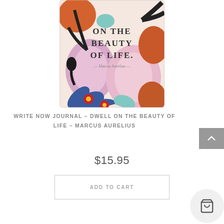[Figure (photo): Book cover of 'Write Now Journal – Dwell on the Beauty of Life – Marcus Aurelius'. Colorful floral illustration with text on a pinkish background. Large flowers in pink, orange, red, and blue with dark leaves.]
WRITE NOW JOURNAL – DWELL ON THE BEAUTY OF LIFE – MARCUS AURELIUS
$15.95
ADD TO CART